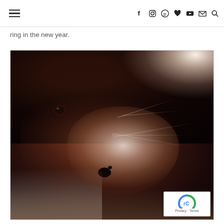Navigation bar with hamburger menu and social icons: f (Facebook), Instagram, Pinterest, heart, YouTube, mail, search
ring in the new year.
[Figure (photo): Close-up photo of a guinea pig lying down, shot from above at close range. The guinea pig has dark brown/black fur on top with a white and dark muzzle/nose area visible prominently. There is heavy overexposure/bright light in the upper right. The animal appears to be resting on bedding.]